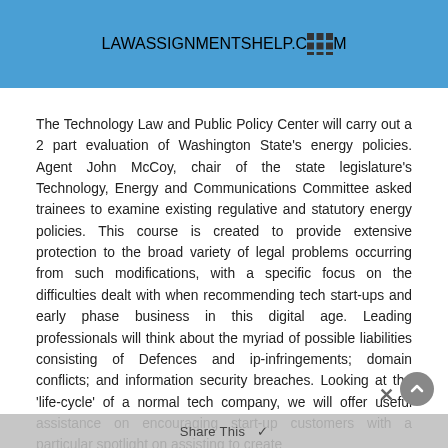LAWASSIGNMENTSHELP.COM
The Technology Law and Public Policy Center will carry out a 2 part evaluation of Washington State's energy policies. Agent John McCoy, chair of the state legislature's Technology, Energy and Communications Committee asked trainees to examine existing regulative and statutory energy policies. This course is created to provide extensive protection to the broad variety of legal problems occurring from such modifications, with a specific focus on the difficulties dealt with when recommending tech start-ups and early phase business in this digital age. Leading professionals will think about the myriad of possible liabilities consisting of Defences and ip-infringements; domain conflicts; and information security breaches. Looking at the 'life-cycle' of a normal tech company, we will offer useful assistance on encouraging start-up customers with a particular spotlight on assisting to create